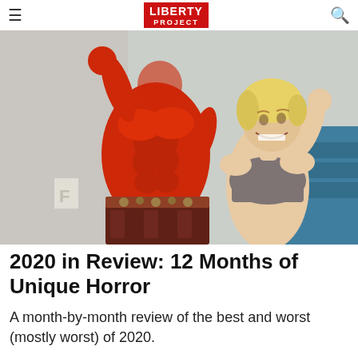≡  LIBERTY project  🔍
[Figure (photo): A person painted entirely red with muscular body, wearing a decorative belt and costume skirt, posing with arm raised next to a smiling blonde woman in a sports bra, taken outdoors on a city street.]
2020 in Review: 12 Months of Unique Horror
A month-by-month review of the best and worst (mostly worst) of 2020.
2020 was exceptional but all review i...